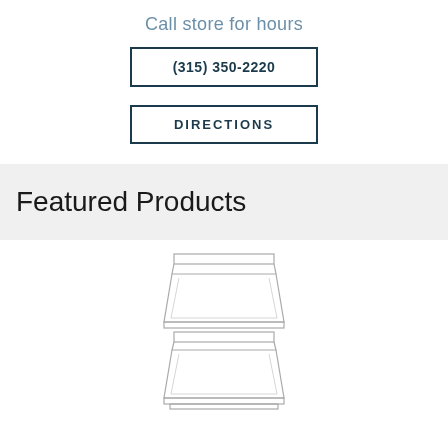Call store for hours
(315) 350-2220
DIRECTIONS
Featured Products
[Figure (illustration): Line drawing illustration of two stacked rectangular storage containers or bins, shown from a front perspective view with lids and trapezoidal bodies.]